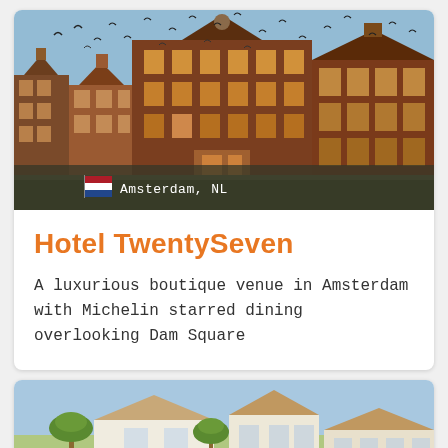[Figure (photo): Photograph of Amsterdam canal-side historic brick buildings with birds flying in a blue sky, with a Dutch flag and location label overlay reading 'Amsterdam, NL']
Hotel TwentySeven
A luxurious boutique venue in Amsterdam with Michelin starred dining overlooking Dam Square
[Figure (photo): Photograph of a white Mediterranean-style building with palm trees and a blue sky]